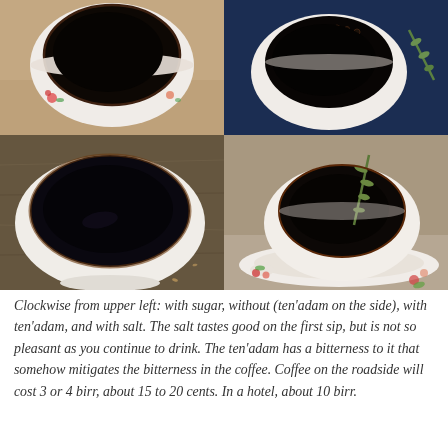[Figure (photo): A 2x2 grid of four photographs showing cups of black Ethiopian coffee: top-left has a white floral cup with sugar on a warm background, top-right shows a white cup on a dark navy blue background with bubbles visible, bottom-left shows a wide white cup on a stone/wood surface with the coffee reflecting light, bottom-right shows a white floral cup on a saucer with a sprig of ten'adam herb in the coffee.]
Clockwise from upper left: with sugar, without (ten'adam on the side), with ten'adam, and with salt. The salt tastes good on the first sip, but is not so pleasant as you continue to drink. The ten'adam has a bitterness to it that somehow mitigates the bitterness in the coffee. Coffee on the roadside will cost 3 or 4 birr, about 15 to 20 cents. In a hotel, about 10 birr.